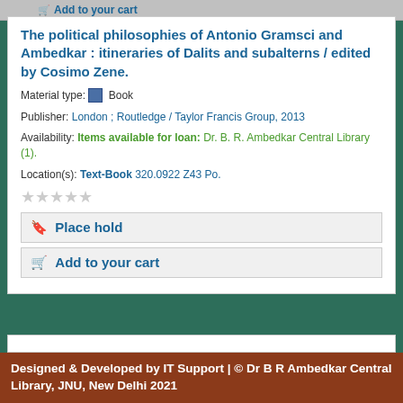Add to your cart
The political philosophies of Antonio Gramsci and Ambedkar : itineraries of Dalits and subalterns / edited by Cosimo Zene.
Material type: Book
Publisher: London ; Routledge / Taylor Francis Group, 2013
Availability: Items available for loan: Dr. B. R. Ambedkar Central Library (1).
Location(s): Text-Book 320.0922 Z43 Po.
Place hold
Add to your cart
Designed & Developed by IT Support | © Dr B R Ambedkar Central Library, JNU, New Delhi 2021